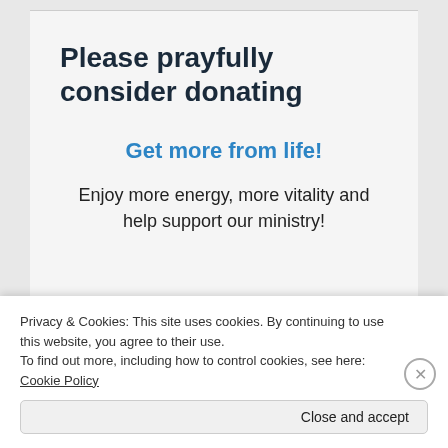Please prayfully consider donating
Get more from life!
Enjoy more energy, more vitality and help support our ministry!
[Figure (photo): Partial view of a book or product image at bottom of page]
Privacy & Cookies: This site uses cookies. By continuing to use this website, you agree to their use.
To find out more, including how to control cookies, see here: Cookie Policy
Close and accept